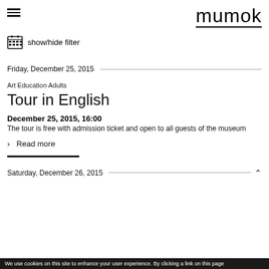mumok
show/hide filter
Friday, December 25, 2015
Art Education Adults
Tour in English
December 25, 2015, 16:00
The tour is free with admission ticket and open to all guests of the museum
> Read more
Saturday, December 26, 2015
We use cookies on this site to enhance your user experience. By clicking a link on this page